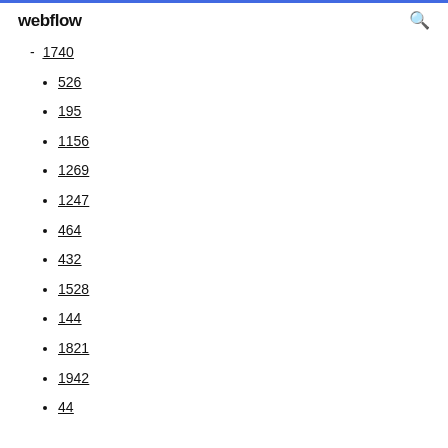webflow
1740
526
195
1156
1269
1247
464
432
1528
144
1821
1942
44